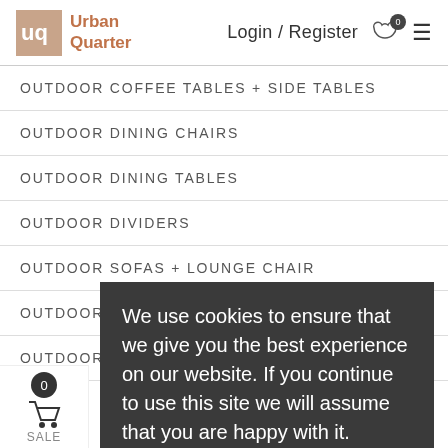Urban Quarter — Login / Register
OUTDOOR COFFEE TABLES + SIDE TABLES
OUTDOOR DINING CHAIRS
OUTDOOR DINING TABLES
OUTDOOR DIVIDERS
OUTDOOR SOFAS + LOUNGE CHAIR
OUTDOOR SUNLOUNGER
OUTDOOR DECORS - LANTERNS
We use cookies to ensure that we give you the best experience on our website. If you continue to use this site we will assume that you are happy with it.
OK, GOT IT
SALE